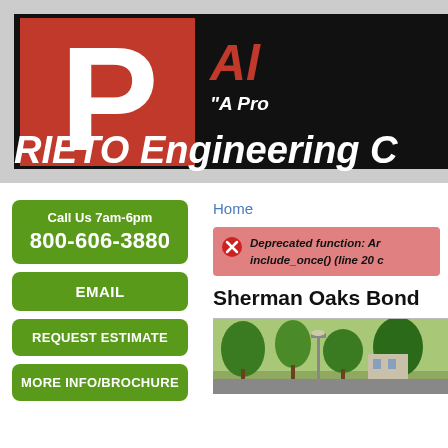[Figure (logo): Prieto Engineering company logo banner with large red P, company name in red italic text 'AL...' on black background, and 'RIETO Engineering C...' text]
Call Us 7am-6pm
800-606-3880
EMAIL
REQUEST ESTIMATE
MORE INFO/BROCHURE
Home
Deprecated function: Ar... include_once() (line 20 c...
Sherman Oaks Bond...
[Figure (photo): Outdoor photo showing trees, a street lamp, and a building in Sherman Oaks]